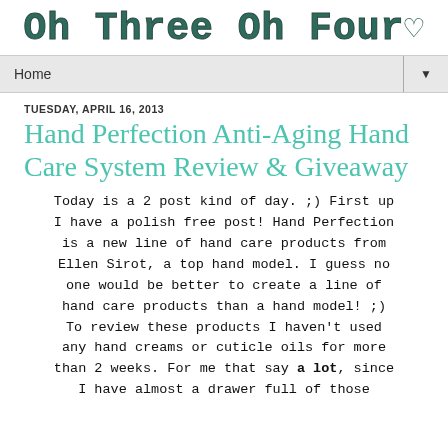Oh Three Oh Fourv
Home ▼
TUESDAY, APRIL 16, 2013
Hand Perfection Anti-Aging Hand Care System Review & Giveaway
Today is a 2 post kind of day. ;) First up I have a polish free post! Hand Perfection is a new line of hand care products from Ellen Sirot, a top hand model. I guess no one would be better to create a line of hand care products than a hand model! ;) To review these products I haven't used any hand creams or cuticle oils for more than 2 weeks. For me that say a lot, since I have almost a drawer full of those